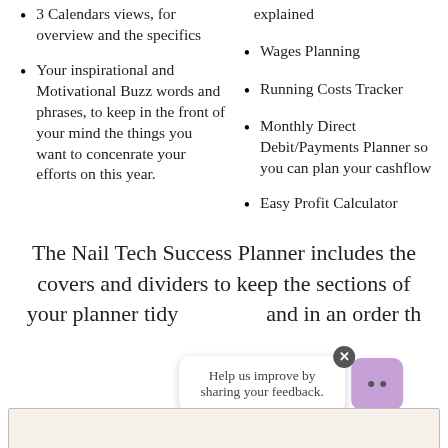3 Calendars views, for overview and the specifics
Your inspirational and Motivational Buzz words and phrases, to keep in the front of your mind the things you want to concenrate your efforts on this year.
...explained
Wages Planning
Running Costs Tracker
Monthly Direct Debit/Payments Planner so you can plan your cashflow
Easy Profit Calculator
The Nail Tech Success Planner includes the covers and dividers to keep the sections of your planner tidy                    and in an order that works for you
Help us improve by sharing your feedback.